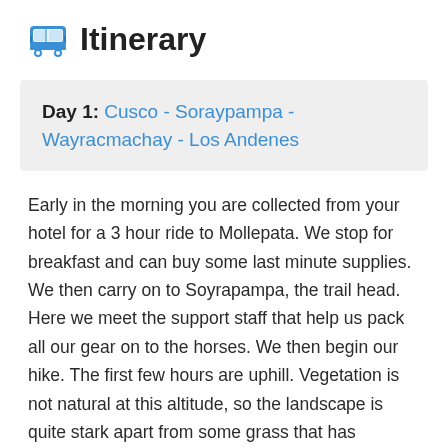Itinerary
Day 1: Cusco - Soraypampa - Wayracmachay - Los Andenes
Early in the morning you are collected from your hotel for a 3 hour ride to Mollepata. We stop for breakfast and can buy some last minute supplies. We then carry on to Soyrapampa, the trail head. Here we meet the support staff that help us pack all our gear on to the horses. We then begin our hike. The first few hours are uphill. Vegetation is not natural at this altitude, so the landscape is quite stark apart from some grass that has adjusted to the altitude. Eventually we reach the highest point of